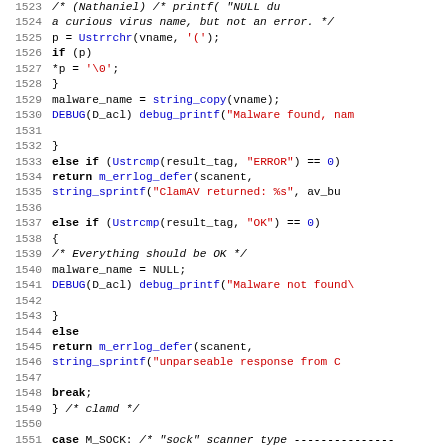[Figure (screenshot): Source code listing in C, lines 1523-1555, showing virus scanner logic with ClamAV integration. Syntax highlighted with keywords in bold, strings in red, function calls in blue.]